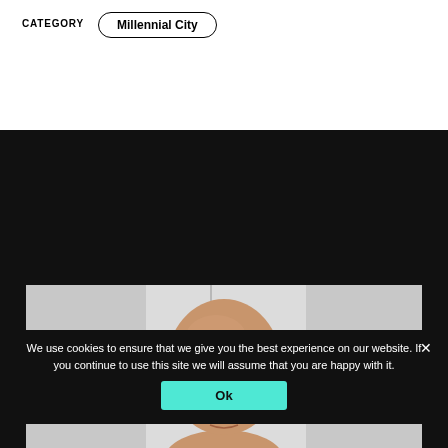CATEGORY
Millennial City
[Figure (photo): Close-up headshot of a bald middle-aged man with a light background, cropped at the forehead and chin level]
We use cookies to ensure that we give you the best experience on our website. If you continue to use this site we will assume that you are happy with it.
Ok